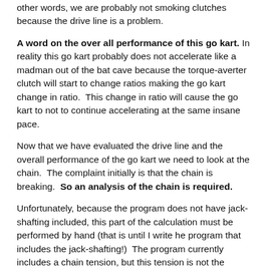other words, we are probably not smoking clutches because the drive line is a problem.
A word on the over all performance of this go kart. In reality this go kart probably does not accelerate like a madman out of the bat cave because the torque-averter clutch will start to change ratios making the go kart change in ratio. This change in ratio will cause the go kart to not to continue accelerating at the same insane pace.
Now that we have evaluated the drive line and the overall performance of the go kart we need to look at the chain. The complaint initially is that the chain is breaking. So an analysis of the chain is required.
Unfortunately, because the program does not have jack-shafting included, this part of the calculation must be performed by hand (that is until I write he program that includes the jack-shafting!) The program currently includes a chain tension, but this tension is not the correct tension of the chain. The chain tension is as if the system was one big rear sprocket and one small drive clutch sprocket. If you think about it, the drive gear would be way, way